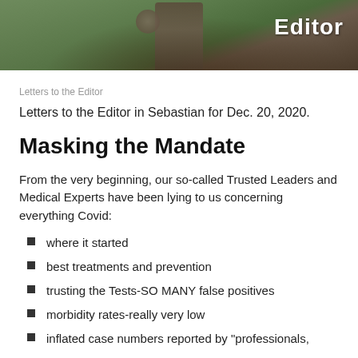[Figure (photo): Header image showing a statue/figure outdoors with green foliage background, with 'Editor' text overlaid in white bold font on the right side]
Letters to the Editor
Letters to the Editor in Sebastian for Dec. 20, 2020.
Masking the Mandate
From the very beginning, our so-called Trusted Leaders and Medical Experts have been lying to us concerning everything Covid:
where it started
best treatments and prevention
trusting the Tests-SO MANY false positives
morbidity rates-really very low
inflated case numbers reported by "professionals,"